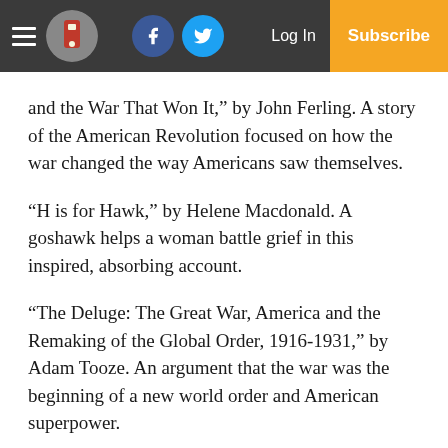Navigation bar with hamburger menu, logo, Facebook and Twitter icons, Log In, and Subscribe button
and the War That Won It,” by John Ferling. A story of the American Revolution focused on how the war changed the way Americans saw themselves.
“H is for Hawk,” by Helene Macdonald. A goshawk helps a woman battle grief in this inspired, absorbing account.
“The Deluge: The Great War, America and the Remaking of the Global Order, 1916-1931,” by Adam Tooze. An argument that the war was the beginning of a new world order and American superpower.
“Pacific: Silicon Chips and Surfboards, Coral Reefs and Atom Bombs, Brutal Dictators, Fading Empires, and the Coming Collision of the World’s